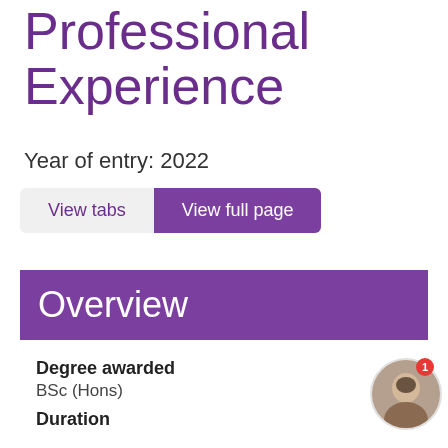Professional Experience
Year of entry: 2022
View tabs | View full page
Overview
Degree awarded
BSc (Hons)
Duration
[Figure (photo): Circular profile photo of a young woman with dark hair, outdoors, with a red notification badge showing '1']